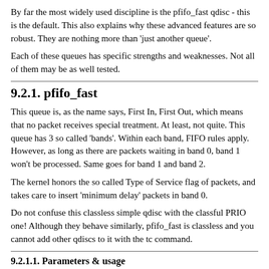By far the most widely used discipline is the pfifo_fast qdisc - this is the default. This also explains why these advanced features are so robust. They are nothing more than 'just another queue'.
Each of these queues has specific strengths and weaknesses. Not all of them may be as well tested.
9.2.1. pfifo_fast
This queue is, as the name says, First In, First Out, which means that no packet receives special treatment. At least, not quite. This queue has 3 so called 'bands'. Within each band, FIFO rules apply. However, as long as there are packets waiting in band 0, band 1 won't be processed. Same goes for band 1 and band 2.
The kernel honors the so called Type of Service flag of packets, and takes care to insert 'minimum delay' packets in band 0.
Do not confuse this classless simple qdisc with the classful PRIO one! Although they behave similarly, pfifo_fast is classless and you cannot add other qdiscs to it with the tc command.
9.2.1.1. Parameters & usage